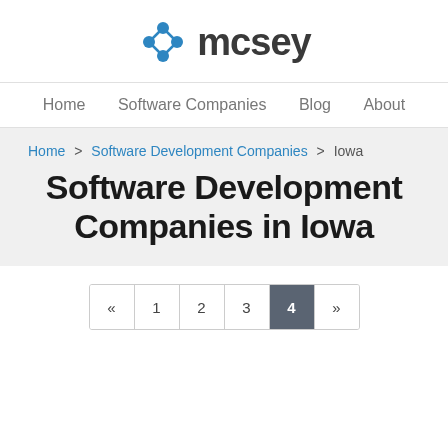mcsey
Home   Software Companies   Blog   About
Home > Software Development Companies > Iowa
Software Development Companies in Iowa
« 1 2 3 4 »